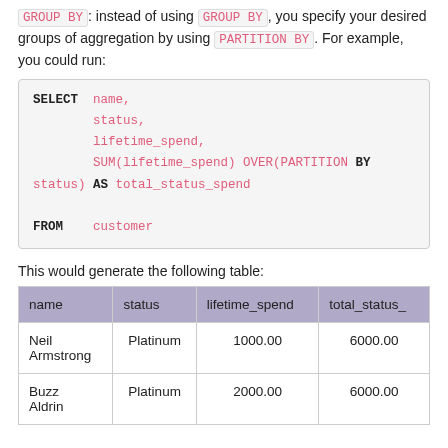GROUP BY: instead of using GROUP BY, you specify your desired groups of aggregation by using PARTITION BY. For example, you could run:
This would generate the following table:
| name | status | lifetime_spend | total_status_ |
| --- | --- | --- | --- |
| Neil Armstrong | Platinum | 1000.00 | 6000.00 |
| Buzz Aldrin | Platinum | 2000.00 | 6000.00 |